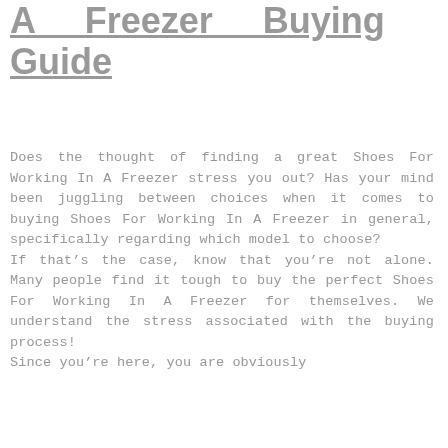A Freezer Buying Guide
Does the thought of finding a great Shoes For Working In A Freezer stress you out? Has your mind been juggling between choices when it comes to buying Shoes For Working In A Freezer in general, specifically regarding which model to choose?
If that's the case, know that you're not alone. Many people find it tough to buy the perfect Shoes For Working In A Freezer for themselves. We understand the stress associated with the buying process!
Since you're here, you are obviously